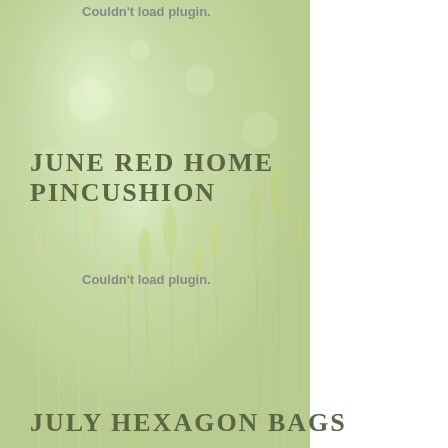[Figure (photo): Soft-focus background photo of wheat/grain stalks in a pale green-yellow field, covering the left two-thirds of the page]
Couldn't load plugin.
JUNE RED HOME PINCUSHION
Couldn't load plugin.
JULY HEXAGON BAGS